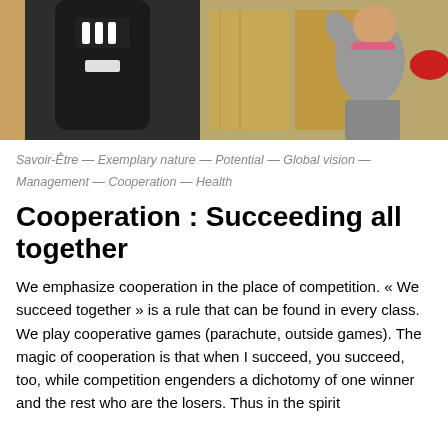[Figure (photo): A child wearing red boxing gloves punching a black Adidas punching bag in a room with wooden walls.]
Savoir-Être — Exemplary nature — Potential — Global vision — Management — Cooperation — Health
Cooperation : Succeeding all together
We emphasize cooperation in the place of competition. « We succeed together » is a rule that can be found in every class. We play cooperative games (parachute, outside games). The magic of cooperation is that when I succeed, you succeed, too, while competition engenders a dichotomy of one winner and the rest who are the losers. Thus in the spirit